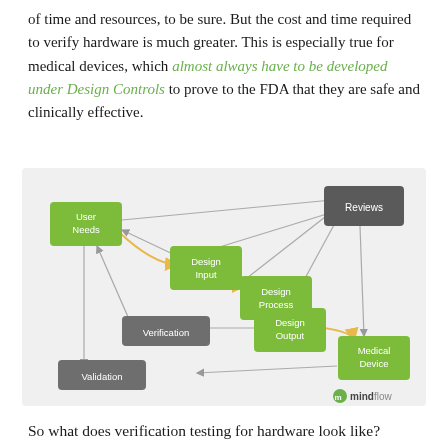of time and resources, to be sure. But the cost and time required to verify hardware is much greater. This is especially true for medical devices, which almost always have to be developed under Design Controls to prove to the FDA that they are safe and clinically effective.
[Figure (flowchart): Design Controls flowchart showing relationships between User Needs, Design Input, Design Process, Design Output, Reviews, Verification, Validation, and Medical Device nodes with arrows indicating flow and feedback loops. Branded with mindflow logo.]
So what does verification testing for hardware look like?